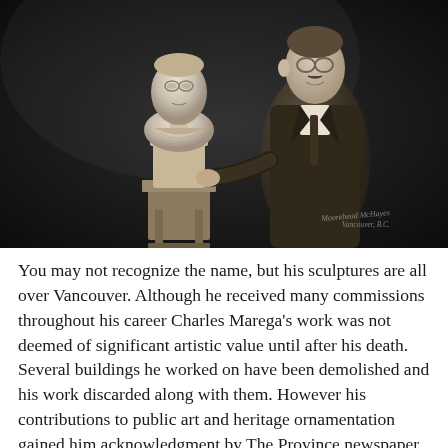[Figure (photo): Black and white photograph of a man in a suit standing next to a sculpted bust on a pedestal. The bust depicts a man wearing glasses. A photographer's watermark reads 'Vancouver, B.C.' in the lower right corner.]
You may not recognize the name, but his sculptures are all over Vancouver. Although he received many commissions throughout his career Charles Marega's work was not deemed of significant artistic value until after his death. Several buildings he worked on have been demolished and his work discarded along with them. However his contributions to public art and heritage ornamentation gained him acknowledgment by The Province newspaper and his name remains in the public's collective memory.